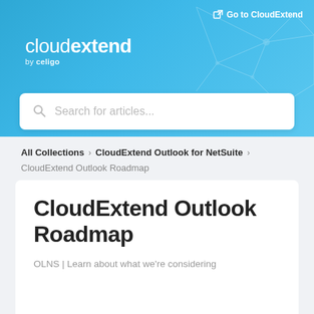[Figure (screenshot): CloudExtend by Celigo logo in white text on blue gradient header background with network polygon pattern]
Go to CloudExtend
Search for articles...
All Collections  >  CloudExtend Outlook for NetSuite  >
CloudExtend Outlook Roadmap
CloudExtend Outlook Roadmap
OLNS | Learn about what we're considering for delivery and its delivery progress